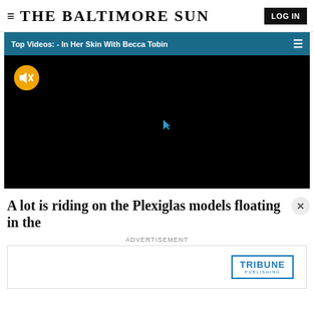THE BALTIMORE SUN
[Figure (screenshot): Video player with teal header bar reading 'Top Videos: - In Her Skin With Becca Tobin' and a black video frame with a mute button (yellow circle with speaker icon) in the top-left corner and a small teal cursor icon in the center]
A lot is riding on the Plexiglas models floating in the
ADVERTISEMENT
[Figure (logo): Tribune Publishing logo in a blue rectangle border]